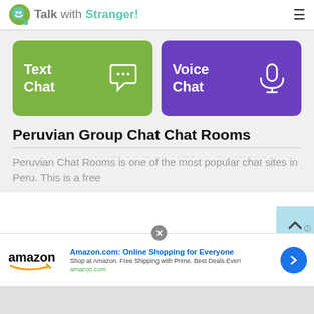TalkwithStranger!
[Figure (screenshot): Two large buttons: 'Text Chat' (green) and 'Voice Chat' (purple) with icons]
Peruvian Group Chat Chat Rooms
Peruvian Chat Rooms is one of the most popular chat sites in Peru. This is a free
[Figure (screenshot): Amazon advertisement banner: 'Amazon.com: Online Shopping for Everyone' with amazon logo and arrow button]